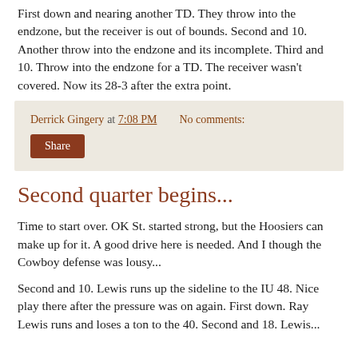First down and nearing another TD. They throw into the endzone, but the receiver is out of bounds. Second and 10. Another throw into the endzone and its incomplete. Third and 10. Throw into the endzone for a TD. The receiver wasn't covered. Now its 28-3 after the extra point.
Derrick Gingery at 7:08 PM   No comments:
Share
Second quarter begins...
Time to start over. OK St. started strong, but the Hoosiers can make up for it. A good drive here is needed. And I though the Cowboy defense was lousy...
Second and 10. Lewis runs up the sideline to the IU 48. Nice play there after the pressure was on again. First down. Ray Lewis runs and loses a ton to the 40. Second and 18. Lewis...